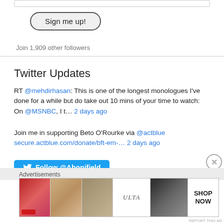Sign me up!
Join 1,909 other followers
Twitter Updates
RT @mehdirhasan: This is one of the longest monologues I've done for a while but do take out 10 mins of your time to watch: On @MSNBC, I t… 2 days ago
Join me in supporting Beto O'Rourke via @actblue secure.actblue.com/donate/bft-em-… 2 days ago
Follow @Abonifield
Advertisements
[Figure (other): Advertisement banner showing beauty/makeup products with ULTA logo and SHOP NOW text]